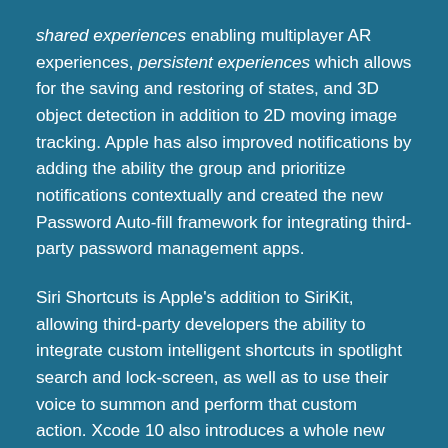shared experiences enabling multiplayer AR experiences, persistent experiences which allows for the saving and restoring of states, and 3D object detection in addition to 2D moving image tracking. Apple has also improved notifications by adding the ability the group and prioritize notifications contextually and created the new Password Auto-fill framework for integrating third-party password management apps.
Siri Shortcuts is Apple's addition to SiriKit, allowing third-party developers the ability to integrate custom intelligent shortcuts in spotlight search and lock-screen, as well as to use their voice to summon and perform that custom action. Xcode 10 also introduces a whole new range of improvements, from dark mode to multi-cursor editing and new source control visuals in the source code editor, to an entirely new build system. Xcode 10 also supports parallel testing reducing the time to complete tests drastically.